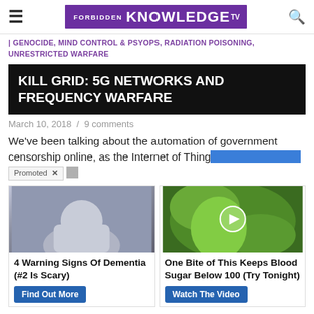Forbidden Knowledge TV
| GENOCIDE, MIND CONTROL & PSYOPS, RADIATION POISONING, UNRESTRICTED WARFARE
KILL GRID: 5G NETWORKS AND FREQUENCY WARFARE
March 10, 2018 / 9 comments
We've been talking about the automation of government censorship online, as the Internet of Things…
[Figure (screenshot): Promoted ad widget with two sponsored content cards: '4 Warning Signs Of Dementia (#2 Is Scary)' with Find Out More button, and 'One Bite of This Keeps Blood Sugar Below 100 (Try Tonight)' with Watch The Video button]